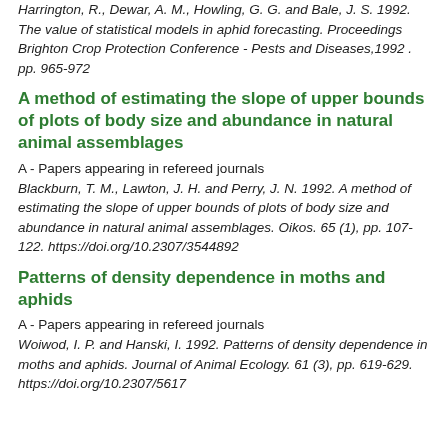Harrington, R., Dewar, A. M., Howling, G. G. and Bale, J. S. 1992. The value of statistical models in aphid forecasting. Proceedings Brighton Crop Protection Conference - Pests and Diseases,1992 . pp. 965-972
A method of estimating the slope of upper bounds of plots of body size and abundance in natural animal assemblages
A - Papers appearing in refereed journals
Blackburn, T. M., Lawton, J. H. and Perry, J. N. 1992. A method of estimating the slope of upper bounds of plots of body size and abundance in natural animal assemblages. Oikos. 65 (1), pp. 107-122. https://doi.org/10.2307/3544892
Patterns of density dependence in moths and aphids
A - Papers appearing in refereed journals
Woiwod, I. P. and Hanski, I. 1992. Patterns of density dependence in moths and aphids. Journal of Animal Ecology. 61 (3), pp. 619-629. https://doi.org/10.2307/5617